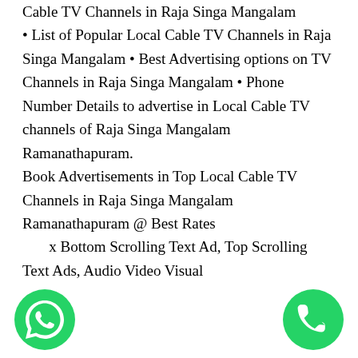Cable TV Channels in Raja Singa Mangalam • List of Popular Local Cable TV Channels in Raja Singa Mangalam • Best Advertising options on TV Channels in Raja Singa Mangalam • Phone Number Details to advertise in Local Cable TV channels of Raja Singa Mangalam Ramanathapuram. Book Advertisements in Top Local Cable TV Channels in Raja Singa Mangalam Ramanathapuram @ Best Rates
x Bottom Scrolling Text Ad, Top Scrolling Text Ads, Audio Video Visual